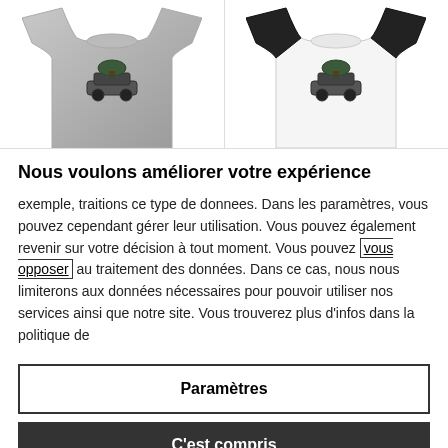[Figure (photo): Two t-shirts with car graphic print: left is a grey t-shirt, right is a white/black baseball-style t-shirt, both partially cropped at top.]
Nous voulons améliorer votre expérience
exemple, traitions ce type de donnees. Dans les paramètres, vous pouvez cependant gérer leur utilisation. Vous pouvez également revenir sur votre décision à tout moment. Vous pouvez vous opposer au traitement des données. Dans ce cas, nous nous limiterons aux données nécessaires pour pouvoir utiliser nos services ainsi que notre site. Vous trouverez plus d'infos dans la politique de
Paramètres
C'est compris